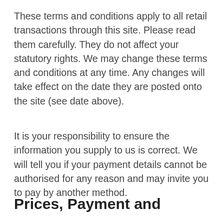These terms and conditions apply to all retail transactions through this site. Please read them carefully. They do not affect your statutory rights. We may change these terms and conditions at any time. Any changes will take effect on the date they are posted onto the site (see date above).
It is your responsibility to ensure the information you supply to us is correct. We will tell you if your payment details cannot be authorised for any reason and may invite you to pay by another method.
Prices, Payment and